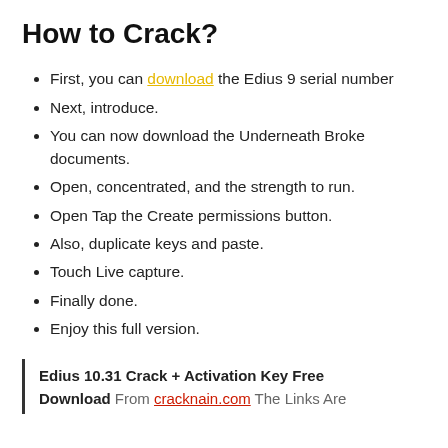How to Crack?
First, you can download the Edius 9 serial number
Next, introduce.
You can now download the Underneath Broke documents.
Open, concentrated, and the strength to run.
Open Tap the Create permissions button.
Also, duplicate keys and paste.
Touch Live capture.
Finally done.
Enjoy this full version.
Edius 10.31 Crack + Activation Key Free Download From cracknain.com The Links Are